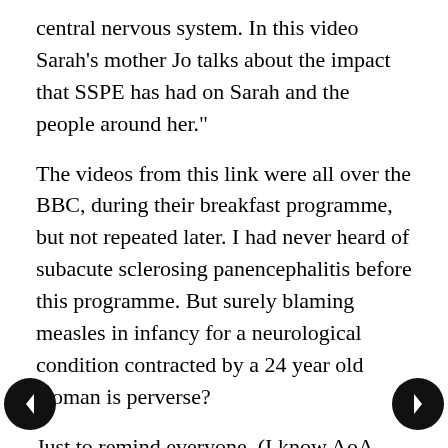central nervous system. In this video Sarah's mother Jo talks about the impact that SSPE has had on Sarah and the people around her."
The videos from this link were all over the BBC, during their breakfast programme, but not repeated later. I had never heard of subacute sclerosing panencephalitis before this programme. But surely blaming measles in infancy for a neurological condition contracted by a 24 year old woman is perverse?
Just to remind everyone, (I know AoA regulars don't need reminding), Dr Wakefield never advocated stopping vaccinations against measles in the UK. Instead he suggested going back to monovalent vaccinations for measles and rubella, whilst more safety research was